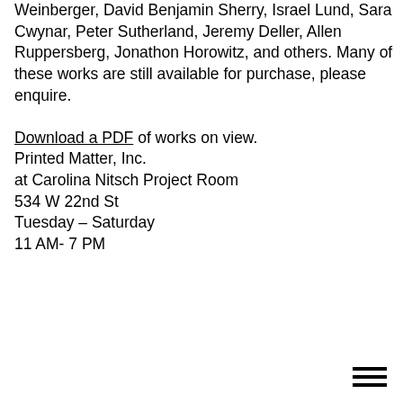Weinberger, David Benjamin Sherry, Israel Lund, Sara Cwynar, Peter Sutherland, Jeremy Deller, Allen Ruppersberg, Jonathon Horowitz, and others. Many of these works are still available for purchase, please enquire.

Download a PDF of works on view.
Printed Matter, Inc.
at Carolina Nitsch Project Room
534 W 22nd St
Tuesday – Saturday
11 AM- 7 PM
[Figure (other): Hamburger menu icon: three horizontal lines stacked vertically, bottom-right corner]